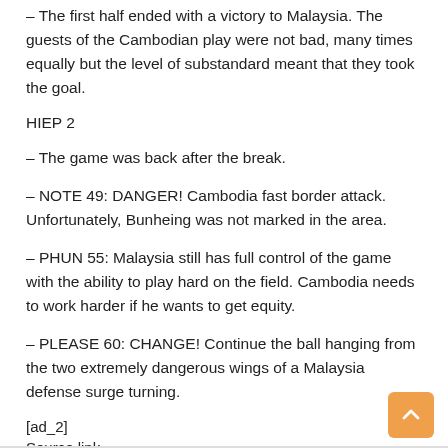– The first half ended with a victory to Malaysia. The guests of the Cambodian play were not bad, many times equally but the level of substandard meant that they took the goal.
HIEP 2
– The game was back after the break.
– NOTE 49: DANGER! Cambodia fast border attack. Unfortunately, Bunheing was not marked in the area.
– PHUN 55: Malaysia still has full control of the game with the ability to play hard on the field. Cambodia needs to work harder if he wants to get equity.
– PLEASE 60: CHANGE! Continue the ball hanging from the two extremely dangerous wings of a Malaysia defense surge turning.
[ad_2]
Source link